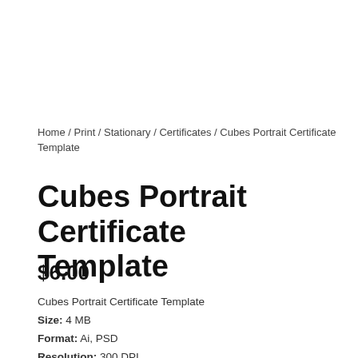Home / Print / Stationary / Certificates / Cubes Portrait Certificate Template
Cubes Portrait Certificate Template
$6.00
Cubes Portrait Certificate Template
Size: 4 MB
Format: Ai, PSD
Resolution: 300 DPI